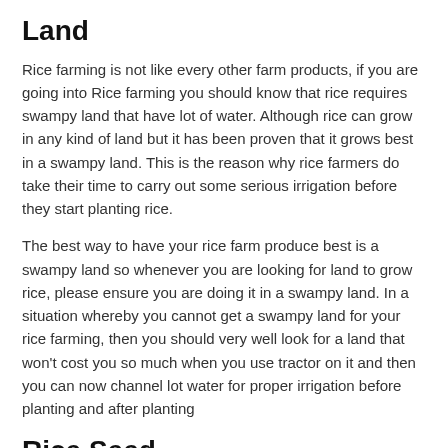Land
Rice farming is not like every other farm products, if you are going into Rice farming you should know that rice requires swampy land that have lot of water. Although rice can grow in any kind of land but it has been proven that it grows best in a swampy land. This is the reason why rice farmers do take their time to carry out some serious irrigation before they start planting rice.
The best way to have your rice farm produce best is a swampy land so whenever you are looking for land to grow rice, please ensure you are doing it in a swampy land. In a situation whereby you cannot get a swampy land for your rice farming, then you should very well look for a land that won't cost you so much when you use tractor on it and then you can now channel lot water for proper irrigation before planting and after planting
Rice Seed
One of the important things in every farming is the seed and when you are going into rice production I would advise you to select very healthy rice seed, seeds that has the ability to grow